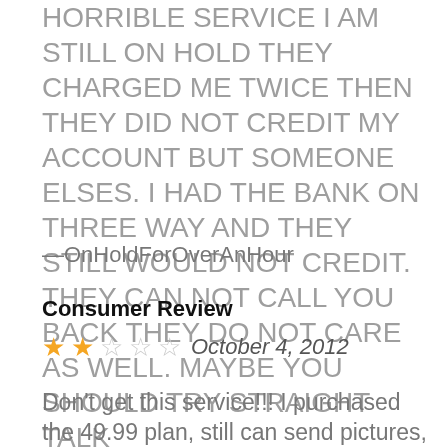HORRIBLE SERVICE I AM STILL ON HOLD THEY CHARGED ME TWICE THEN THEY DID NOT CREDIT MY ACCOUNT BUT SOMEONE ELSES. I HAD THE BANK ON THREE WAY AND THEY STILL WOULD NOT CREDIT. THEY CAN NOT CALL YOU BACK THEY DO NOT CARE AS WELL. MAYBE YOU SHOULD TRY STRAIGHT TALK
—OnHoldForOverAnHour
Consumer Review
★★☆☆☆   October 4, 2012
Don't get this service!!! I purchased the 49.99 plan, still can send pictures, the international